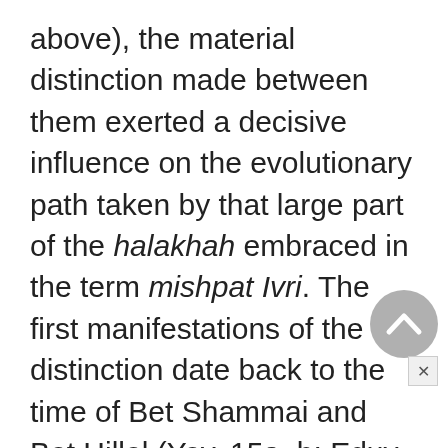above), the material distinction made between them exerted a decisive influence on the evolutionary path taken by that large part of the halakhah embraced in the term mishpat Ivri. The first manifestations of the distinction date back to the time of Bet Shammai and Bet Hillel (Yev. 15a–b; Eduy. 1:12 – "If you have permitted in a matter relating to the stringent prohibition of incest, shall you not permit in civil matters (mamon) which are less stringent?") and in the course